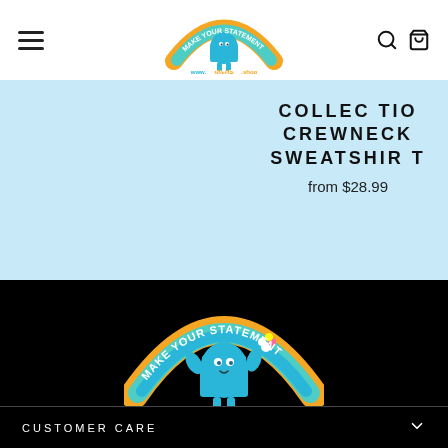[Figure (logo): Make Your Statement T-ShirtsPlus.shop logo - cartoon t-shirt character with text arc]
COLLECTION CREWNECK SWEATSHIRT
from $28.99
[Figure (logo): Large Make Your Statement logo on black background with www.T-ShirtsPlus.shop URL]
CUSTOMER CARE